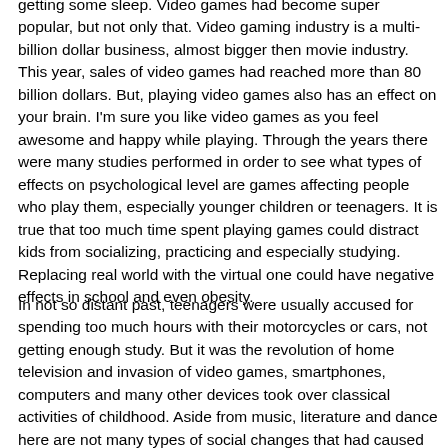getting some sleep. Video games had become super popular, but not only that. Video gaming industry is a multi-billion dollar business, almost bigger then movie industry. This year, sales of video games had reached more than 80 billion dollars. But, playing video games also has an effect on your brain. I'm sure you like video games as you feel awesome and happy while playing. Through the years there were many studies performed in order to see what types of effects on psychological level are games affecting people who play them, especially younger children or teenagers. It is true that too much time spent playing games could distract kids from socializing, practicing and especially studying. Replacing real world with the virtual one could have negative effects in school and even obesity.
In not so distant past, teenagers were usually accused for spending too much hours with their motorcycles or cars, not getting enough study. But it was the revolution of home television and invasion of video games, smartphones, computers and many other devices took over classical activities of childhood. Aside from music, literature and dance here are not many types of social changes that had caused